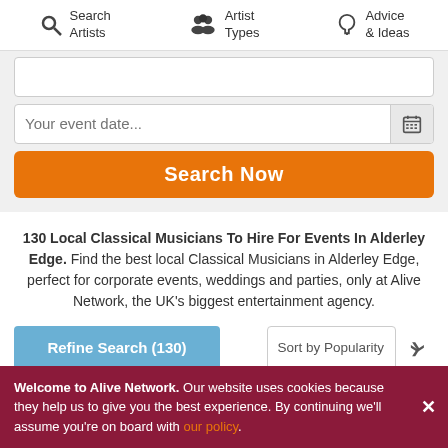Search Artists | Artist Types | Advice & Ideas
[Figure (screenshot): Search form with event date input and calendar button]
Search Now
130 Local Classical Musicians To Hire For Events In Alderley Edge. Find the best local Classical Musicians in Alderley Edge, perfect for corporate events, weddings and parties, only at Alive Network, the UK's biggest entertainment agency.
Refine Search (130)
Sort by Popularity
[Figure (photo): Two artist photos side by side - left shows a musician with instrument, right shows group of people]
Welcome to Alive Network. Our website uses cookies because they help us to give you the best experience. By continuing we'll assume you're on board with our policy.